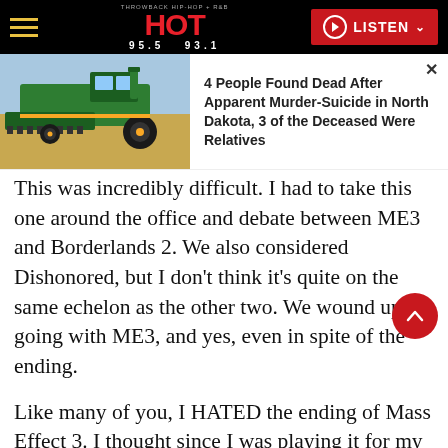HOT 95.5 93.1 — THROWBACK HIP-HOP + R&B | LISTEN
[Figure (photo): Green combine harvester (John Deere style) in a field, side view, outdoor daylight.]
4 People Found Dead After Apparent Murder-Suicide in North Dakota, 3 of the Deceased Were Relatives
This was incredibly difficult. I had to take this one around the office and debate between ME3 and Borderlands 2. We also considered Dishonored, but I don't think it's quite on the same echelon as the other two. We wound up going with ME3, and yes, even in spite of the ending.
Like many of you, I HATED the ending of Mass Effect 3. I thought since I was playing it for my